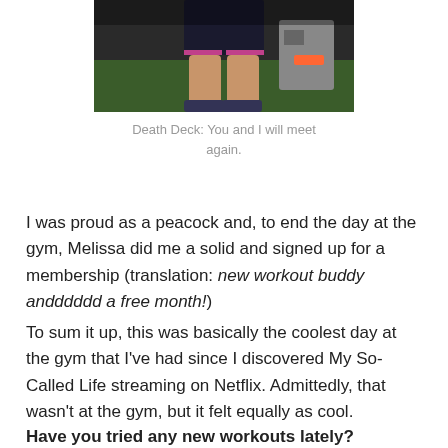[Figure (photo): Cropped photo showing a person's legs in black athletic shorts with pink trim, standing on grass near gym equipment]
Death Deck: You and I will meet again.
I was proud as a peacock and, to end the day at the gym, Melissa did me a solid and signed up for a membership (translation: new workout buddy andddddd a free month!)
To sum it up, this was basically the coolest day at the gym that I've had since I discovered My So-Called Life streaming on Netflix. Admittedly, that wasn't at the gym, but it felt equally as cool.
Have you tried any new workouts lately?